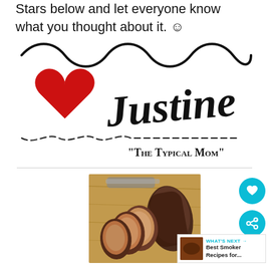Stars below and let everyone know what you thought about it. 😊
[Figure (logo): Blog signature logo with wavy line decoration, red heart, cursive 'Justine' text, and dashed line with 'The Typical Mom' subtitle]
[Figure (photo): Sliced smoked or roasted pork loin on a wooden cutting board with a knife, showing a crispy spiced crust and juicy interior slices]
WHAT'S NEXT → Best Smoker Recipes for...